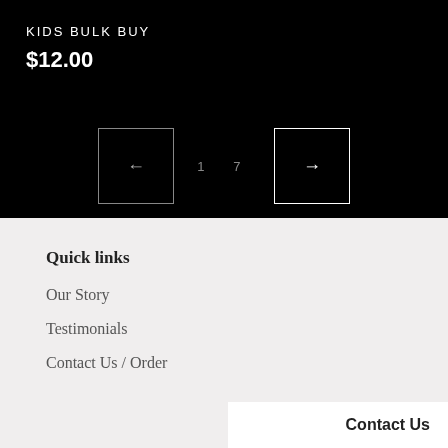KIDS BULK BUY
$12.00
[Figure (other): Navigation controls with left arrow button, page indicator '1 of 7', and right arrow button on black background]
Quick links
Our Story
Testimonials
Contact Us / Order
Contact Us